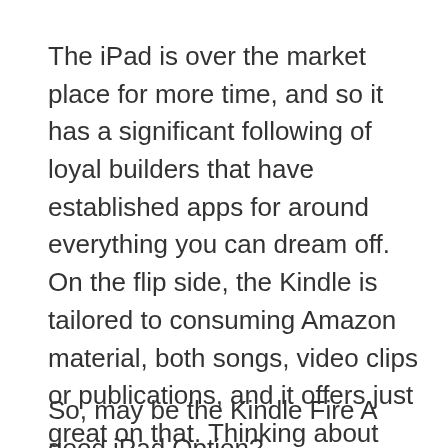The iPad is over the market place for more time, and so it has a significant following of loyal builders that have established apps for around everything you can dream off. On the flip side, the Kindle is tailored to consuming Amazon material, both songs, video clips or publications, and it offers just great on that. Thinking about that Amazon is without doubt one of the greatest marketplaces for this sort of client things, Fireplace owners are not heading to operate out of items to go through or see any time shortly.
So, may be the Kindle Fire A good iPad Option?